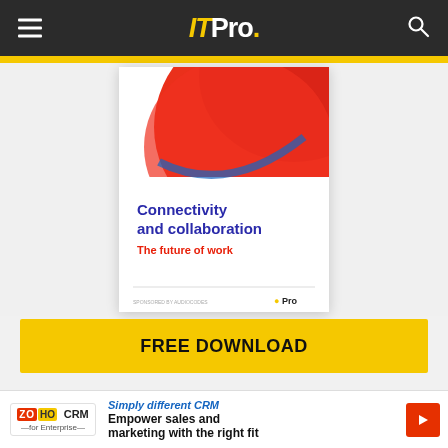IT Pro.
[Figure (illustration): Book cover showing 'Connectivity and collaboration – The future of work' with abstract red and blue curved shapes, IT Pro logo at bottom right]
FREE DOWNLOAD
Adding value to Microsoft Teams beyond voice connectivity
How AudioCodes can understand your broader business communication needs and fill in the gaps
[Figure (illustration): Partial thumbnail of 'Adding Value to Microsoft Teams' white paper with dark blue cover]
[Figure (logo): ZOHO CRM for Enterprise advertisement banner — Simply different CRM — Empower sales and marketing with the right fit]